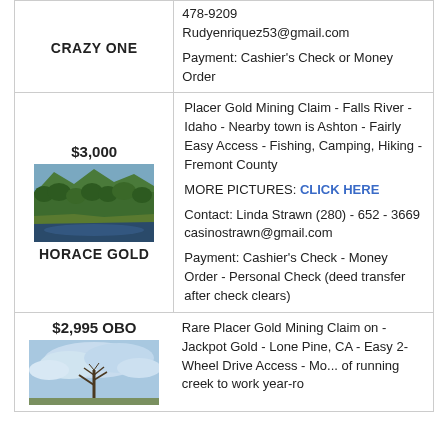| CRAZY ONE | 478-9209
Rudyenriquez53@gmail.com
Payment: Cashier's Check or Money Order |
| $3,000
[forest image]
HORACE GOLD | Placer Gold Mining Claim - Falls River - Idaho - Nearby town is Ashton - Fairly Easy Access - Fishing, Camping, Hiking - Fremont County
MORE PICTURES: CLICK HERE
Contact: Linda Strawn (280) - 652 - 3669 casinostrawn@gmail.com
Payment: Cashier's Check - Money Order - Personal Check (deed transfer after check clears) |
| $2,995 OBO
[sky image] | Rare Placer Gold Mining Claim on - Jackpot Gold - Lone Pine, CA - Easy 2-Wheel Drive Access - More of running creek to work year-ro |